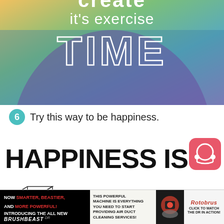[Figure (illustration): Motivational graphic with colorful circular background (gradient of yellow, green, teal, purple) over a water/sea image. Text reads 'it's exercise TIME' in white lettering, with 'TIME' in large outline block letters. Top of image partially cut off showing word starting with 'create' or similar.]
6  Try this way to be happiness.
[Figure (illustration): Bold black text on white background reading 'HAPPINESS IS' with a pink/red circular icon with headphone symbol at the right end.]
[Figure (illustration): Line art geometric shape resembling a 3D cube/house structure, sketched in black outline on white background.]
[Figure (illustration): Advertisement banner: left section shows BrushBeast DR product ad on black background with red text 'SMARTER, BEASTIER, AND MORE POWERFUL!'; middle section shows text about air duct cleaning machine; right section shows Rotobrus brand name with 'CLICK TO WATCH THE DR IN ACTION!' text and fire/machine imagery.]